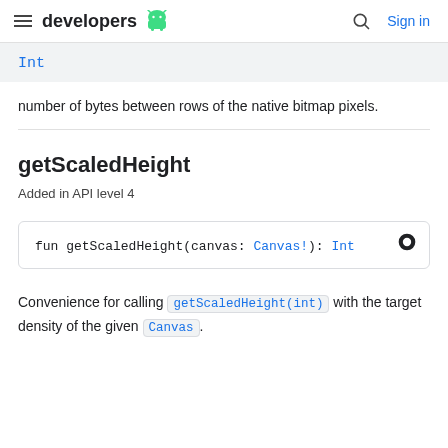developers [android logo] [search icon] Sign in
Int
number of bytes between rows of the native bitmap pixels.
getScaledHeight
Added in API level 4
fun getScaledHeight(canvas: Canvas!): Int
Convenience for calling getScaledHeight(int) with the target density of the given Canvas.